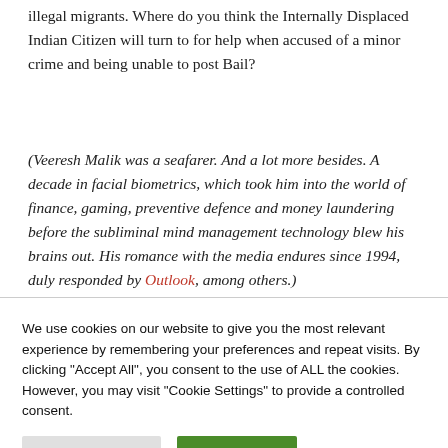illegal migrants. Where do you think the Internally Displaced Indian Citizen will turn to for help when accused of a minor crime and being unable to post Bail?
(Veeresh Malik was a seafarer. And a lot more besides. A decade in facial biometrics, which took him into the world of finance, gaming, preventive defence and money laundering before the subliminal mind management technology blew his brains out. His romance with the media endures since 1994, duly responded by Outlook, among others.)
We use cookies on our website to give you the most relevant experience by remembering your preferences and repeat visits. By clicking "Accept All", you consent to the use of ALL the cookies. However, you may visit "Cookie Settings" to provide a controlled consent.